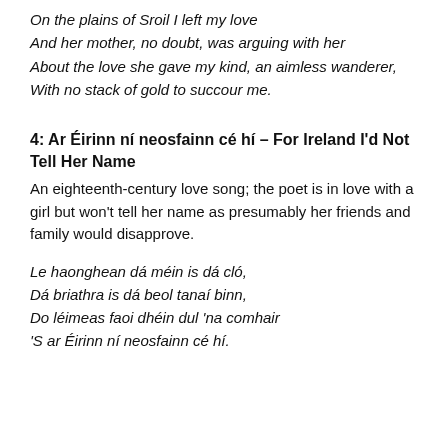On the plains of Sroil I left my love
And her mother, no doubt, was arguing with her
About the love she gave my kind, an aimless wanderer,
With no stack of gold to succour me.
4: Ar Éirinn ní neosfainn cé hí – For Ireland I'd Not Tell Her Name
An eighteenth-century love song; the poet is in love with a girl but won't tell her name as presumably her friends and family would disapprove.
Le haonghean dá méin is dá cló,
Dá briathra is dá beol tanaí binn,
Do léimeas faoi dhéin dul 'na comhair
'S ar Éirinn ní neosfainn cé hí.